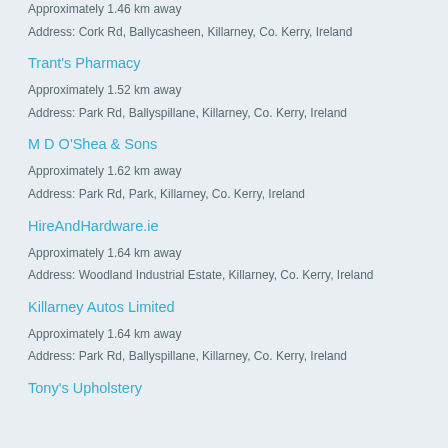Approximately 1.46 km away
Address: Cork Rd, Ballycasheen, Killarney, Co. Kerry, Ireland
Trant's Pharmacy
Approximately 1.52 km away
Address: Park Rd, Ballyspillane, Killarney, Co. Kerry, Ireland
M D O'Shea & Sons
Approximately 1.62 km away
Address: Park Rd, Park, Killarney, Co. Kerry, Ireland
HireAndHardware.ie
Approximately 1.64 km away
Address: Woodland Industrial Estate, Killarney, Co. Kerry, Ireland
Killarney Autos Limited
Approximately 1.64 km away
Address: Park Rd, Ballyspillane, Killarney, Co. Kerry, Ireland
Tony's Upholstery